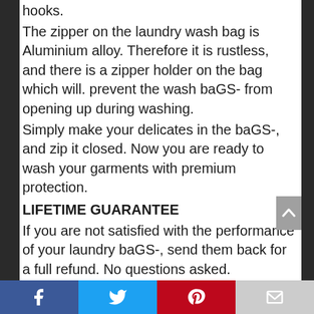hooks.
The zipper on the laundry wash bag is Aluminium alloy. Therefore it is rustless, and there is a zipper holder on the bag which will. prevent the wash baGS- from opening up during washing.
Simply make your delicates in the baGS-, and zip it closed. Now you are ready to wash your garments with premium protection.
LIFETIME GUARANTEE
If you are not satisfied with the performance of your laundry baGS-, send them back for a full refund. No questions asked.
GET 1 SET FOR YOURSELF AND GIVE THE GIFT OF LAUNDRY PERFECTION TO A FRIEND
Facebook Twitter Pinterest Email